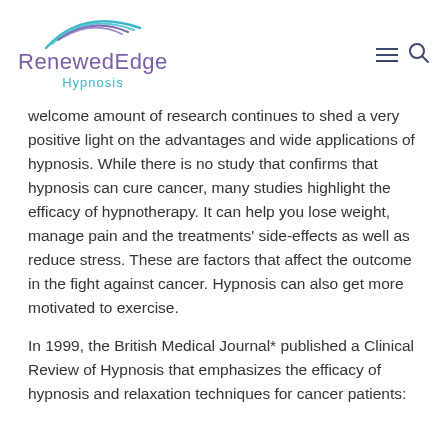[Figure (logo): RenewedEdge Hypnosis logo with arc swoosh graphic above the text]
welcome amount of research continues to shed a very positive light on the advantages and wide applications of hypnosis. While there is no study that confirms that hypnosis can cure cancer, many studies highlight the efficacy of hypnotherapy. It can help you lose weight, manage pain and the treatments' side-effects as well as reduce stress. These are factors that affect the outcome in the fight against cancer. Hypnosis can also get more motivated to exercise.
In 1999, the British Medical Journal* published a Clinical Review of Hypnosis that emphasizes the efficacy of hypnosis and relaxation techniques for cancer patients: